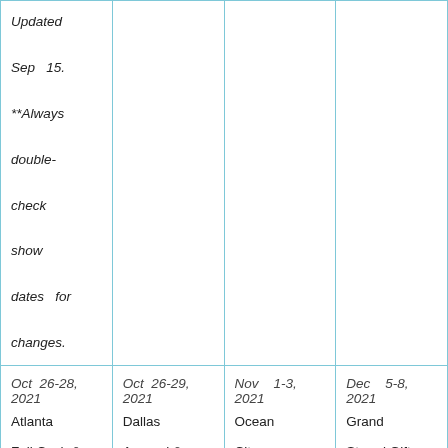| Updated Sep 15. **Always double-check show dates for changes. |  |  |  |
| Oct 26-28, 2021
Atlanta Fall Cash & Carry | Oct 26-29, 2021
Dallas Apparel & Accessories Market | Nov 1-3, 2021
Ocean City Resort Gift Expo, Ocean | Dec 5-8, 2021
Grand Strand Gift & Resort Show, Myrtle |